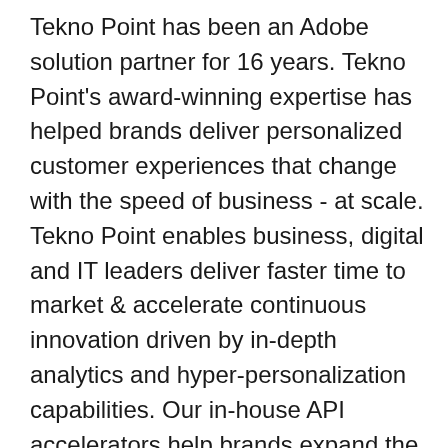Tekno Point has been an Adobe solution partner for 16 years. Tekno Point's award-winning expertise has helped brands deliver personalized customer experiences that change with the speed of business - at scale. Tekno Point enables business, digital and IT leaders deliver faster time to market & accelerate continuous innovation driven by in-depth analytics and hyper-personalization capabilities. Our in-house API accelerators help brands expand the possibilities to deliver a truly omnichannel experience to their consumers.